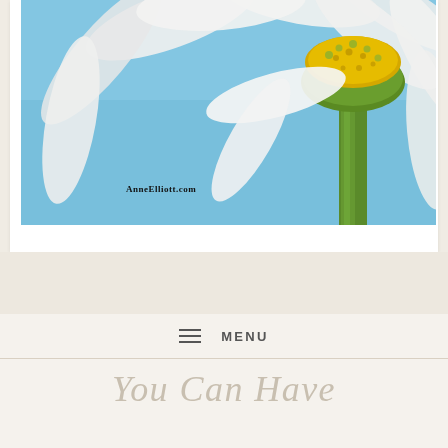[Figure (photo): Close-up photo of a white daisy flower from below against a bright blue sky, showing the yellow center and green stem. Watermark text 'AnneElliott.com' visible on the photo.]
≡ MENU
You Can Have